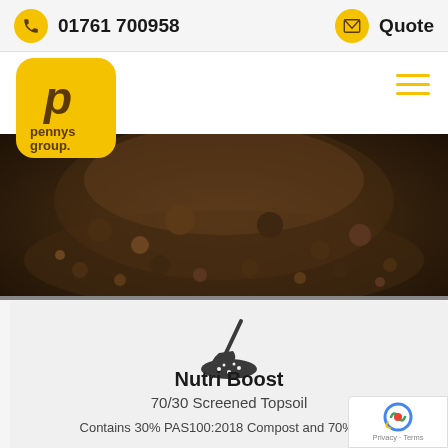01761 700958  Quote
[Figure (logo): Pennys Group yellow rounded square logo with stylized 'p' and text 'pennys group.']
[Figure (photo): Close-up photograph of a dark brown topsoil/compost pile]
[Figure (illustration): Dark grey icon of a garden trowel/shovel scooping soil]
Nutri Boost
70/30 Screened Topsoil
Contains 30% PAS100:2018 Compost and 70% of c